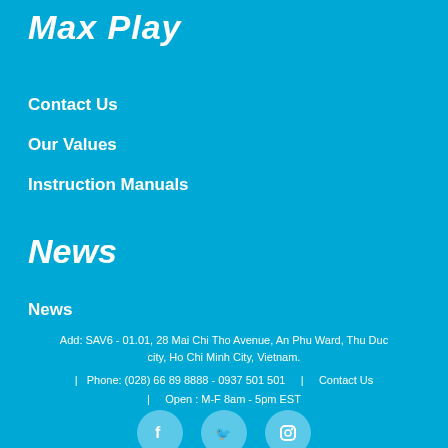Max Play
Contact Us
Our Values
Instruction Manuals
News
News
Add: SAV6 - 01.01, 28 Mai Chi Tho Avenue, An Phu Ward, Thu Duc city, Ho Chi Minh City, Vietnam.
| Phone: (028) 66 89 8888 - 0937 501 501 | Contact Us
| Open : M-F 8am - 5pm EST
[Figure (illustration): Three social media icon circles (Facebook, Twitter/X, and another platform) in light blue at the bottom of the page]